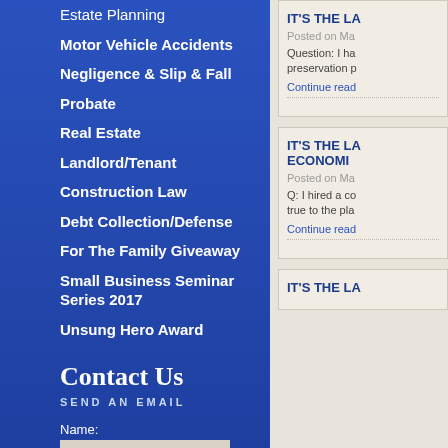Estate Planning
Motor Vehicle Accidents
Negligence & Slip & Fall
Probate
Real Estate
Landlord/Tenant
Construction Law
Debt Collection/Defense
For The Family Giveaway
Small Business Seminar Series 2017
Unsung Hero Award
Contact Us
SEND AN EMAIL
Name:
Email:
Phone:
IT'S THE LA
Posted on Ma
Question: I ha preservation p
Continue read
IT'S THE LA ECONOMI
Posted on Ma
Q: I hired a co true to the pla
Continue read
IT'S THE LA